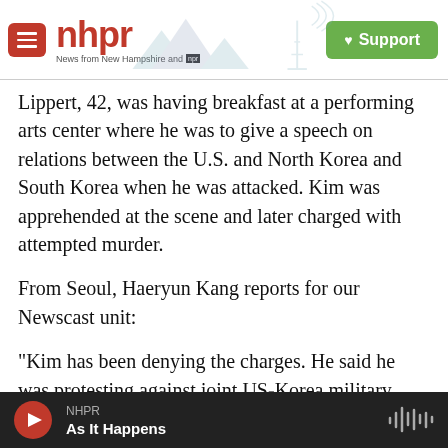NHPR — News from New Hampshire and NPR — Support
Lippert, 42, was having breakfast at a performing arts center where he was to give a speech on relations between the U.S. and North Korea and South Korea when he was attacked. Kim was apprehended at the scene and later charged with attempted murder.
From Seoul, Haeryun Kang reports for our Newscast unit:
"Kim has been denying the charges. He said he was protesting against joint US-Korea military drills, which he described as 'war games.' He accused the
NHPR — As It Happens